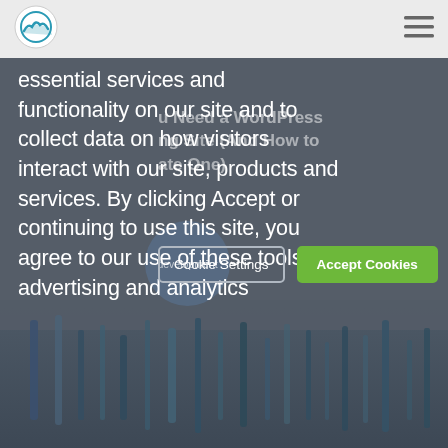[Figure (logo): Circular logo with mountain/wave icon in blue on light background]
[Figure (illustration): Hamburger menu icon (three horizontal lines) in top right corner]
essential services and functionality on our site and to collect data on how visitors interact with our site, products and services. By clicking Accept or continuing to use this site, you agree to our use of these tools for advertising and analytics
You Need a WordPress ing Site (And How to ate One)
[Figure (illustration): Cookie Settings and Accept Cookies buttons on dark background overlay]
[Figure (photo): Development badge circle overlay and tools/screwdrivers photo at bottom of page]